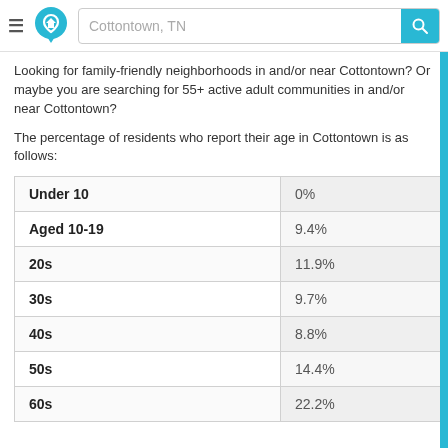Cottontown, TN
Looking for family-friendly neighborhoods in and/or near Cottontown? Or maybe you are searching for 55+ active adult communities in and/or near Cottontown?
The percentage of residents who report their age in Cottontown is as follows:
| Age Group | Percentage |
| --- | --- |
| Under 10 | 0% |
| Aged 10-19 | 9.4% |
| 20s | 11.9% |
| 30s | 9.7% |
| 40s | 8.8% |
| 50s | 14.4% |
| 60s | 22.2% |